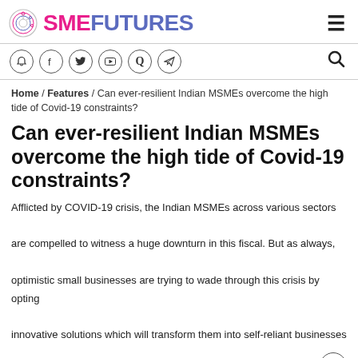SME FUTURES
Social icons bar: bell, facebook, twitter, youtube, quora, telegram, search
Home / Features / Can ever-resilient Indian MSMEs overcome the high tide of Covid-19 constraints?
Can ever-resilient Indian MSMEs overcome the high tide of Covid-19 constraints?
Afflicted by COVID-19 crisis, the Indian MSMEs across various sectors are compelled to witness a huge downturn in this fiscal. But as always, optimistic small businesses are trying to wade through this crisis by opting innovative solutions which will transform them into self-reliant businesses
Anushruti Singh   June 27, 2020
25 - 20 million MSMEs lost jobs